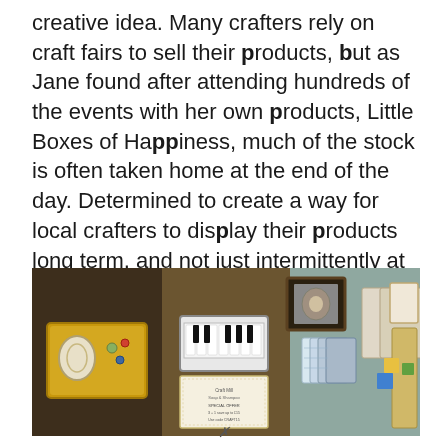creative idea. Many crafters rely on craft fairs to sell their products, but as Jane found after attending hundreds of the events with her own products, Little Boxes of Happiness, much of the stock is often taken home at the end of the day. Determined to create a way for local crafters to display their products long term, and not just intermittently at craft fairs, Jane and her team opened Out of the ORDinary in 2017.
[Figure (photo): A craft shop interior showing various items displayed including jewelry in gold trays, decorative tins with piano key designs, greeting cards, framed pictures, and a small sign. The shop displays handmade craft products.]
✗